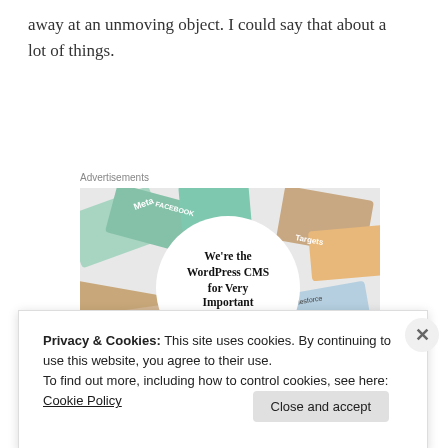away at an unmoving object. I could say that about a lot of things.
Advertisements
[Figure (illustration): WordPress VIP advertisement showing colorful brand cards (Meta, Facebook, Capgemini, Salesforce, etc.) arranged around a white circle. Inside the circle: 'We're the WordPress CMS for Very Important Content' with WordPress VIP logo and 'Learn more' button.]
Privacy & Cookies: This site uses cookies. By continuing to use this website, you agree to their use.
To find out more, including how to control cookies, see here: Cookie Policy
Close and accept